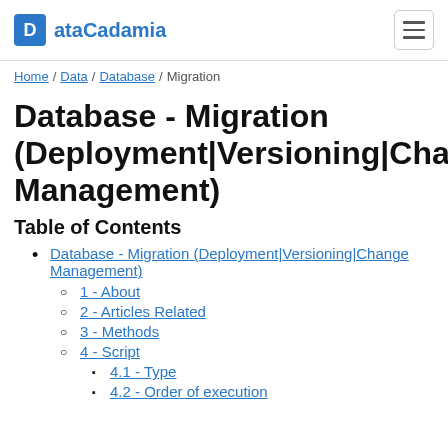ataCadamia
Home / Data / Database / Migration
Database - Migration (Deployment|Versioning|Change Management)
Table of Contents
Database - Migration (Deployment|Versioning|Change Management)
1 - About
2 - Articles Related
3 - Methods
4 - Script
4.1 - Type
4.2 - Order of execution